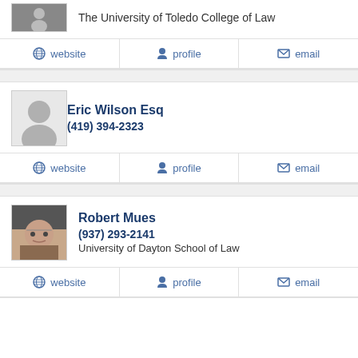The University of Toledo College of Law
website  profile  email
Eric Wilson Esq
(419) 394-2323
website  profile  email
Robert Mues
(937) 293-2141
University of Dayton School of Law
website  profile  email